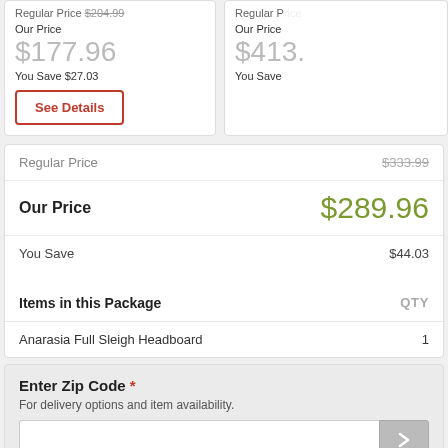Regular Price $204.99
Our Price
$177.96
You Save $27.03
See Details
Regular Price
$333.99
Our Price
$289.96
You Save
$44.03
Items in this Package
QTY
Anarasia Full Sleigh Headboard
1
Enter Zip Code *
For delivery options and item availability.